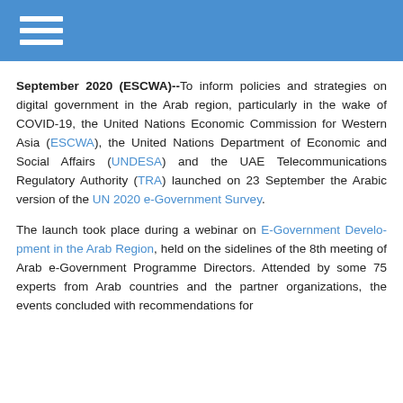September 2020 (ESCWA)--To inform policies and strategies on digital government in the Arab region, particularly in the wake of COVID-19, the United Nations Economic Commission for Western Asia (ESCWA), the United Nations Department of Economic and Social Affairs (UNDESA) and the UAE Telecommunications Regulatory Authority (TRA) launched on 23 September the Arabic version of the UN 2020 e-Government Survey.
The launch took place during a webinar on E-Government Development in the Arab Region, held on the sidelines of the 8th meeting of Arab e-Government Programme Directors. Attended by some 75 experts from Arab countries and the partner organizations, the events concluded with recommendations for